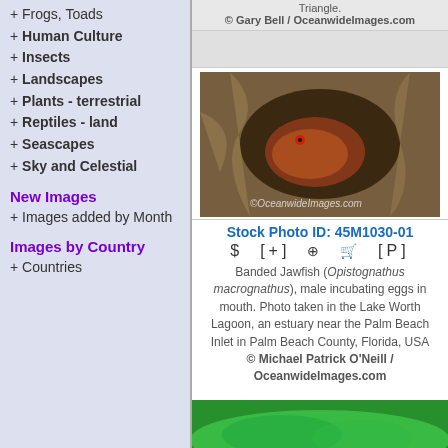+ Frogs, Toads
+ Human Culture
+ Insects
+ Landscapes
+ Plants - terrestrial
+ Reptiles - land
+ Seascapes
+ Sky and Celestial
New Images
+ Images added by Month
Images by Country
+ Countries
Triangle.
© Gary Bell / OceanwideImages.com
[Figure (photo): Banded Jawfish (Opistognathus macrognathus) male incubating eggs in mouth, peeking out of burrow in rocky substrate with watermark OceanwideImages.com]
Stock Photo ID: 45M1030-01
$ [+] [zoom] [cart] [P]
Banded Jawfish (Opistognathus macrognathus), male incubating eggs in mouth. Photo taken in the Lake Worth Lagoon, an estuary near the Palm Beach Inlet in Palm Beach County, Florida, USA © Michael Patrick O'Neill / OceanwideImages.com
[Figure (photo): Partial view of a brightly colored green/blue marine creature at the bottom of the page]